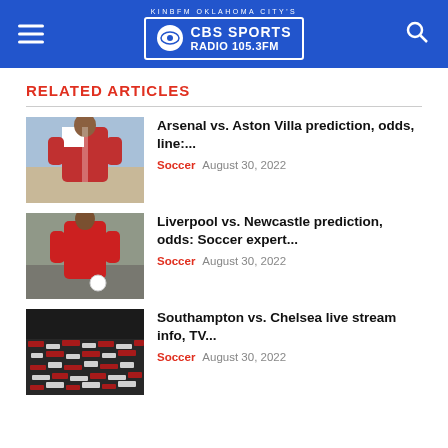KINBFM OKLAHOMA CITY'S CBS SPORTS RADIO 105.3FM
RELATED ARTICLES
[Figure (photo): Soccer player in Arsenal red kit]
Arsenal vs. Aston Villa prediction, odds, line:... Soccer August 30, 2022
[Figure (photo): Liverpool player in red kit running]
Liverpool vs. Newcastle prediction, odds: Soccer expert... Soccer August 30, 2022
[Figure (photo): Crowd of fans with red and white scarves]
Southampton vs. Chelsea live stream info, TV... Soccer August 30, 2022